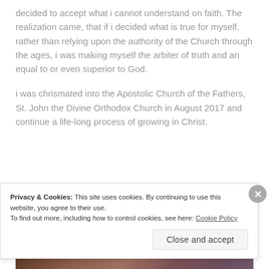decided to accept what i cannot understand on faith. The realization came, that if i decided what is true for myself, rather than relying upon the authority of the Church through the ages, i was making myself the arbiter of truth and an equal to or even superior to God.
i was chrismated into the Apostolic Church of the Fathers, St. John the Divine Orthodox Church in August 2017 and continue a life-long process of growing in Christ.
[Figure (photo): A dark, blurry interior photo with warm brown and mauve tones, likely a church or room interior.]
Privacy & Cookies: This site uses cookies. By continuing to use this website, you agree to their use. To find out more, including how to control cookies, see here: Cookie Policy
Close and accept